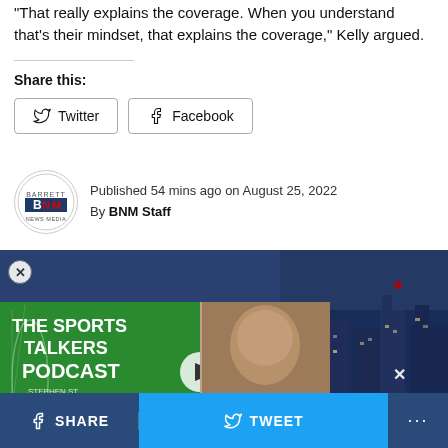"That really explains the coverage. When you understand that's their mindset, that explains the coverage," Kelly argued.
Share this:
[Figure (screenshot): Twitter share button]
[Figure (screenshot): Facebook share button]
Published 54 mins ago on August 25, 2022
By BNM Staff
[Figure (photo): Photo of a blonde woman on a TV set with city skyline background, with a sports podcast overlay on the left side showing The Sports Talkers Podcast green branding and a man's photo]
[Figure (screenshot): Bottom social sharing bar with Share and Tweet buttons]